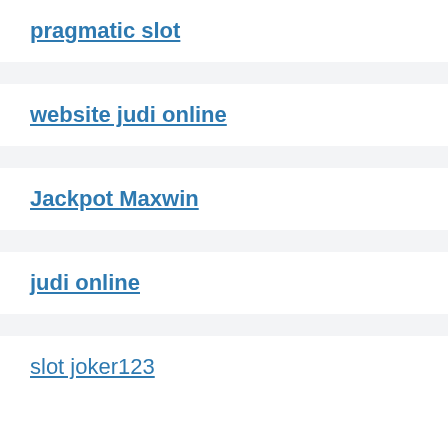pragmatic slot
website judi online
Jackpot Maxwin
judi online
slot joker123